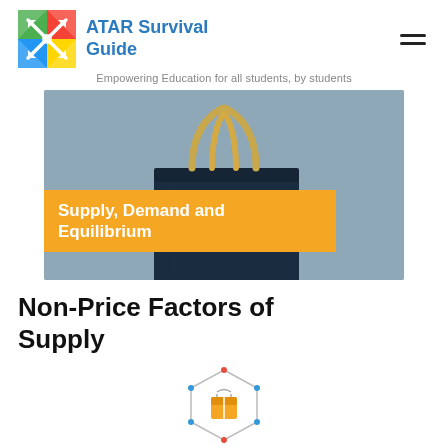ATAR Survival Guide
Empowering Education for all students, by students
[Figure (photo): Shopping bag with gold handles against a grey background, with an orange banner overlay reading 'Supply, Demand and Equilibrium']
Non-Price Factors of Supply
[Figure (illustration): Small icon of a box/package with a network/hexagon graphic]